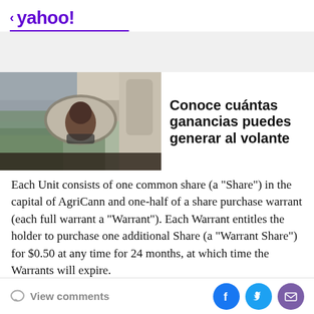< yahoo!
[Figure (photo): Person viewed from rear-view mirror inside a car, outdoor scene visible.]
Conoce cuántas ganancias puedes generar al volante
Each Unit consists of one common share (a "Share") in the capital of AgriCann and one-half of a share purchase warrant (each full warrant a "Warrant"). Each Warrant entitles the holder to purchase one additional Share (a "Warrant Share") for $0.50 at any time for 24 months, at which time the Warrants will expire.
Should the Company's Shares have a closing price equal
View comments